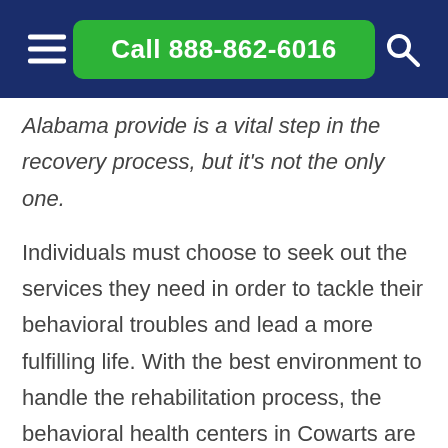Call 888-862-6016
Alabama provide is a vital step in the recovery process, but it's not the only one.
Individuals must choose to seek out the services they need in order to tackle their behavioral troubles and lead a more fulfilling life. With the best environment to handle the rehabilitation process, the behavioral health centers in Cowarts are capable of handling any behavioral issue.